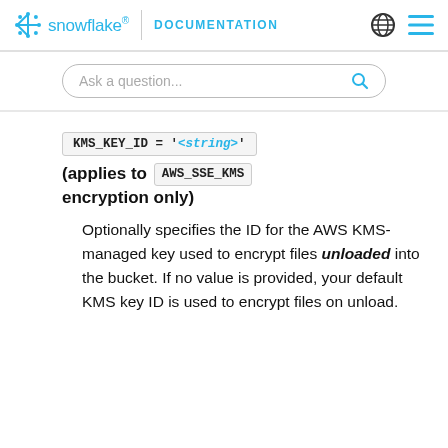Snowflake DOCUMENTATION
KMS_KEY_ID = '<string>'
(applies to AWS_SSE_KMS encryption only)
Optionally specifies the ID for the AWS KMS-managed key used to encrypt files unloaded into the bucket. If no value is provided, your default KMS key ID is used to encrypt files on unload.